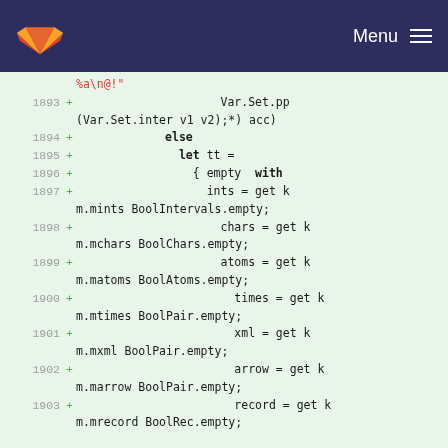Menu
[Figure (screenshot): Code diff viewer showing OCaml source lines 1893-1903 with added lines (green +) on light green background. Lines show Var.Set.pp, else, let tt =, { empty with, ints = get k m.mints BoolIntervals.empty;, chars = get k m.mchars BoolChars.empty;, atoms = get k m.matoms BoolAtoms.empty;, times = get k m.mtimes BoolPair.empty;, xml = get k m.mxml BoolPair.empty;, arrow = get k m.marrow BoolPair.empty;, record = get k m.mrecord BoolRec.empty;]